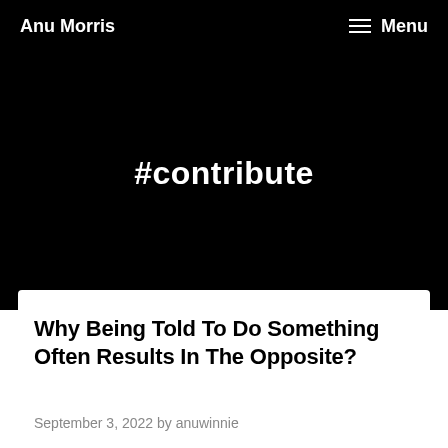Anu Morris  Menu
#contribute
Why Being Told To Do Something Often Results In The Opposite?
September 3, 2022 by anuwinnie